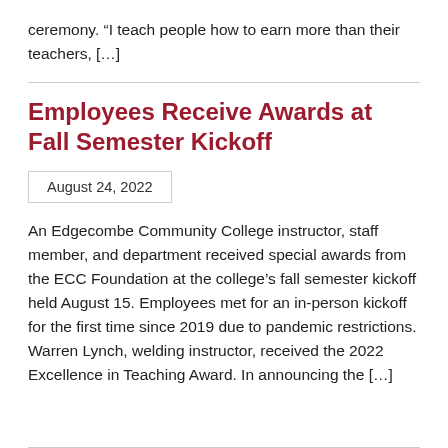ceremony. “I teach people how to earn more than their teachers, […]
Employees Receive Awards at Fall Semester Kickoff
August 24, 2022
An Edgecombe Community College instructor, staff member, and department received special awards from the ECC Foundation at the college’s fall semester kickoff held August 15. Employees met for an in-person kickoff for the first time since 2019 due to pandemic restrictions. Warren Lynch, welding instructor, received the 2022 Excellence in Teaching Award. In announcing the […]